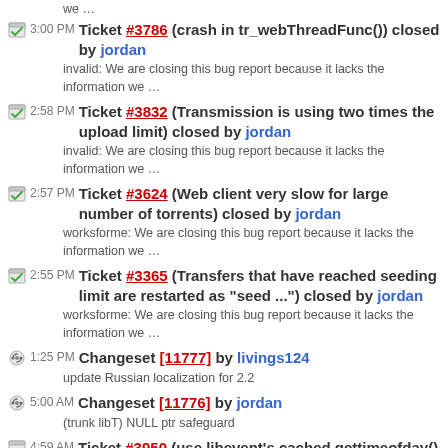we …
3:00 PM Ticket #3786 (crash in tr_webThreadFunc()) closed by jordan
invalid: We are closing this bug report because it lacks the information we …
2:58 PM Ticket #3832 (Transmission is using two times the upload limit) closed by jordan
invalid: We are closing this bug report because it lacks the information we …
2:57 PM Ticket #3624 (Web client very slow for large number of torrents) closed by jordan
worksforme: We are closing this bug report because it lacks the information we …
2:55 PM Ticket #3365 (Transfers that have reached seeding limit are restarted as "seed ...") closed by jordan
worksforme: We are closing this bug report because it lacks the information we …
1:25 PM Changeset [11777] by livings124
update Russian localization for 2.2
5:00 AM Changeset [11776] by jordan
(trunk libT) NULL ptr safeguard
4:59 AM Ticket #3950 (use libevent's cached gettimeofday() value when appropriate) created by jordan
gettimeofday() shows up pretty high in transmission-daemon's …